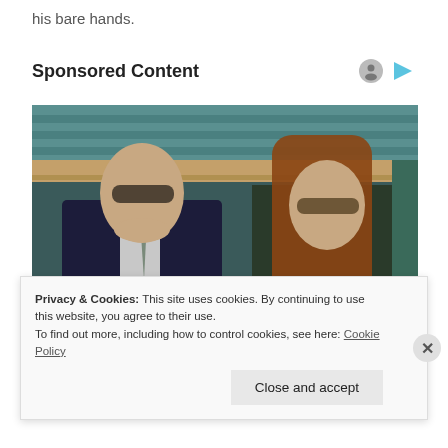his bare hands.
Sponsored Content
[Figure (photo): Two people wearing sunglasses sitting in stadium seats. Man in dark suit on the left, woman with long brown hair on the right. Text overlay reads: [Photos] Meet The Girlfriends Of The Richest Men On The Planet]
[Photos] Meet The Girlfriends Of The Richest Men On The Planet
Privacy & Cookies: This site uses cookies. By continuing to use this website, you agree to their use.
To find out more, including how to control cookies, see here: Cookie Policy
Close and accept